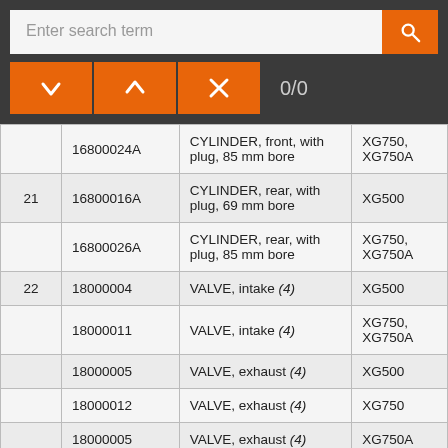[Figure (screenshot): Search bar UI with orange search button, navigation buttons (down, up, close) on dark background, and 0/0 counter]
|  | Part Number | Description | Model |
| --- | --- | --- | --- |
|  | 16800024A | CYLINDER, front, with plug, 85 mm bore | XG750, XG750A |
| 21 | 16800016A | CYLINDER, rear, with plug, 69 mm bore | XG500 |
|  | 16800026A | CYLINDER, rear, with plug, 85 mm bore | XG750, XG750A |
| 22 | 18000004 | VALVE, intake (4) | XG500 |
|  | 18000011 | VALVE, intake (4) | XG750, XG750A |
|  | 18000005 | VALVE, exhaust (4) | XG500 |
|  | 18000012 | VALVE, exhaust (4) | XG750 |
|  | 18000005 | VALVE, exhaust (4) | XG750A |